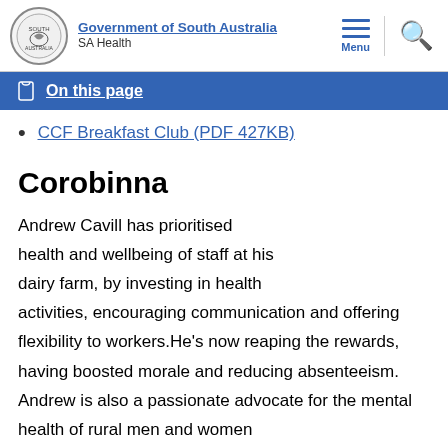Government of South Australia — SA Health
On this page
CCF Breakfast Club (PDF 427KB)
Corobinna
Andrew Cavill has prioritised health and wellbeing of staff at his dairy farm, by investing in health activities, encouraging communication and offering flexibility to workers.He's now reaping the rewards, having boosted morale and reducing absenteeism. Andrew is also a passionate advocate for the mental health of rural men and women